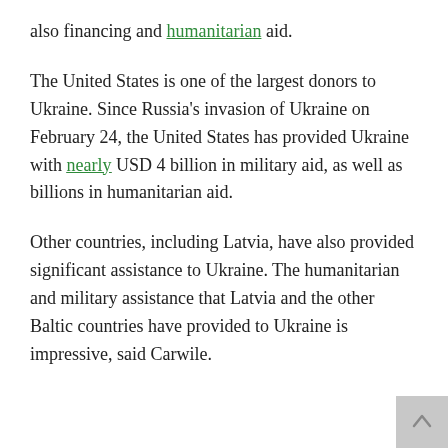also financing and humanitarian aid.
The United States is one of the largest donors to Ukraine. Since Russia's invasion of Ukraine on February 24, the United States has provided Ukraine with nearly USD 4 billion in military aid, as well as billions in humanitarian aid.
Other countries, including Latvia, have also provided significant assistance to Ukraine. The humanitarian and military assistance that Latvia and the other Baltic countries have provided to Ukraine is impressive, said Carwile.